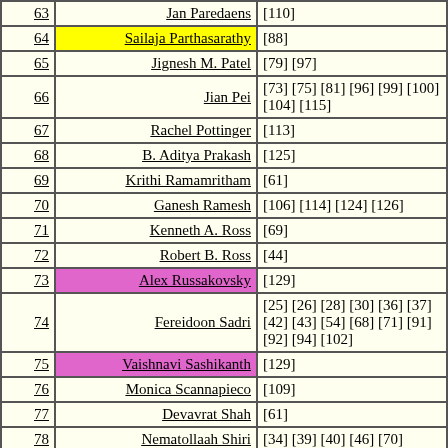| # | Name | References |
| --- | --- | --- |
| 63 | Jan Paredaens | [110] |
| 64 | Sailaja Parthasarathy | [88] |
| 65 | Jignesh M. Patel | [79] [97] |
| 66 | Jian Pei | [73] [75] [81] [96] [99] [100] [104] [115] |
| 67 | Rachel Pottinger | [113] |
| 68 | B. Aditya Prakash | [125] |
| 69 | Krithi Ramamritham | [61] |
| 70 | Ganesh Ramesh | [106] [114] [124] [126] |
| 71 | Kenneth A. Ross | [69] |
| 72 | Robert B. Ross | [44] |
| 73 | Alex Russakovsky | [129] |
| 74 | Fereidoon Sadri | [25] [26] [28] [30] [36] [37] [42] [43] [54] [68] [71] [91] [92] [94] [102] |
| 75 | Vaishnavi Sashikanth | [129] |
| 76 | Monica Scannapieco | [109] |
| 77 | Devavrat Shah | [61] |
| 78 | Nematollaah Shiri | [34] [39] [40] [46] [70] |
| 79 |  | [53] [56] [58] [67] [72] [77] [78] |